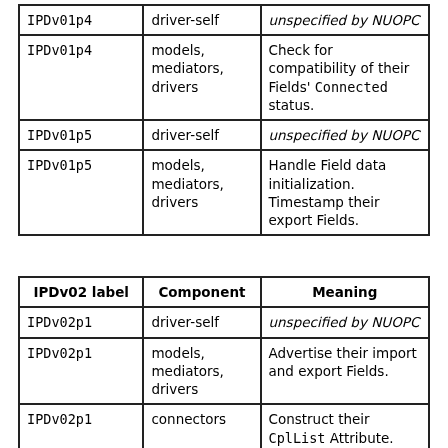| IPDv01p4 | driver-self | unspecified by NUOPC |
| IPDv01p4 | models,
mediators,
drivers | Check for compatibility of their Fields' Connected status. |
| IPDv01p5 | driver-self | unspecified by NUOPC |
| IPDv01p5 | models,
mediators,
drivers | Handle Field data initialization. Timestamp their export Fields. |
| IPDv02 label | Component | Meaning |
| --- | --- | --- |
| IPDv02p1 | driver-self | unspecified by NUOPC |
| IPDv02p1 | models,
mediators,
drivers | Advertise their import and export Fields. |
| IPDv02p1 | connectors | Construct their CplList Attribute. |